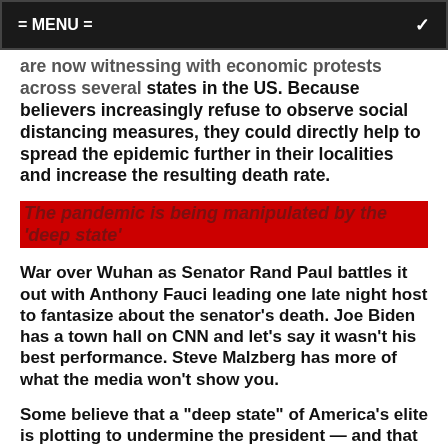= MENU =
are now witnessing with economic protests across several states in the US. Because believers increasingly refuse to observe social distancing measures, they could directly help to spread the epidemic further in their localities and increase the resulting death rate.
The pandemic is being manipulated by the ‘deep state’
War over Wuhan as Senator Rand Paul battles it out with Anthony Fauci leading one late night host to fantasize about the senator’s death. Joe Biden has a town hall on CNN and let’s say it wasn’t his best performance. Steve Malzberg has more of what the media won’t show you.
Some believe that a “deep state” of America’s elite is plotting to undermine the president — and that Dr. Anthony Fauci, the face of the US coronavirus pandemic response — is a secret member. Fauci’s expression of disbelief has at least once gone on to cause a viral debate...